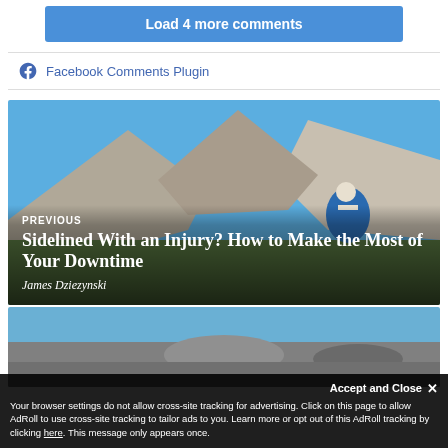Load 4 more comments
Facebook Comments Plugin
[Figure (photo): Article thumbnail showing a mountain landscape with rocky peaks, blue sky, and a person in a blue jacket and white cap crouching in the foreground. Overlaid text reads PREVIOUS / Sidelined With an Injury? How to Make the Most of Your Downtime / James Dziezynski]
[Figure (photo): Partial article thumbnail showing a mountain panorama with blue sky and rocky terrain]
Accept and Close ✕
Your browser settings do not allow cross-site tracking for advertising. Click on this page to allow AdRoll to use cross-site tracking to tailor ads to you. Learn more or opt out of this AdRoll tracking by clicking here. This message only appears once.